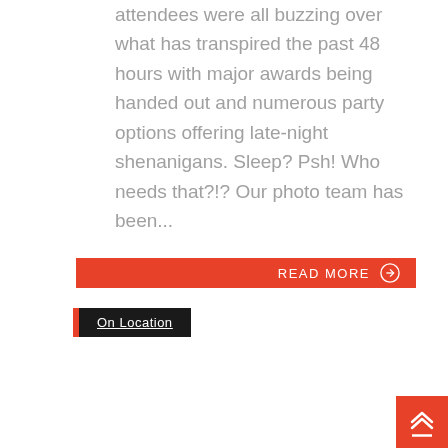attendees were all buzzing over what has transpired the past 48 hours with major awards being handed out and numerous party options offering late-night shenanigans. Sleep? Psh! Who needs that?!? Our photo team has been...
Read More →
On Location